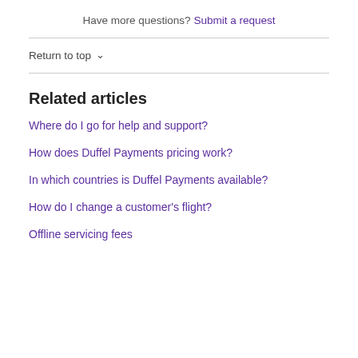Have more questions? Submit a request
Return to top ∧
Related articles
Where do I go for help and support?
How does Duffel Payments pricing work?
In which countries is Duffel Payments available?
How do I change a customer's flight?
Offline servicing fees